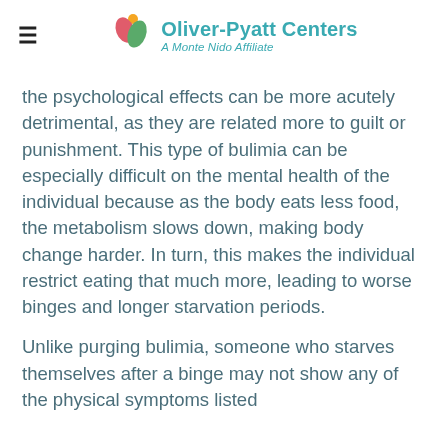Oliver-Pyatt Centers — A Monte Nido Affiliate
the psychological effects can be more acutely detrimental, as they are related more to guilt or punishment. This type of bulimia can be especially difficult on the mental health of the individual because as the body eats less food, the metabolism slows down, making body change harder. In turn, this makes the individual restrict eating that much more, leading to worse binges and longer starvation periods.
Unlike purging bulimia, someone who starves themselves after a binge may not show any of the physical symptoms listed